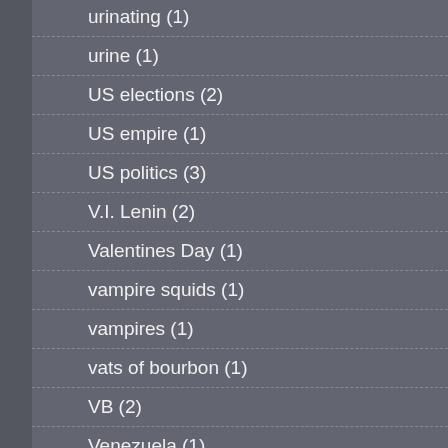urinating (1)
urine (1)
US elections (2)
US empire (1)
US politics (3)
V.I. Lenin (2)
Valentines Day (1)
vampire squids (1)
vampires (1)
vats of bourbon (1)
VB (2)
Venezuela (1)
Vera Rubin (1)
vet fees (1)
Victoria Spivey (1)
violence (3)
violence against women (1)